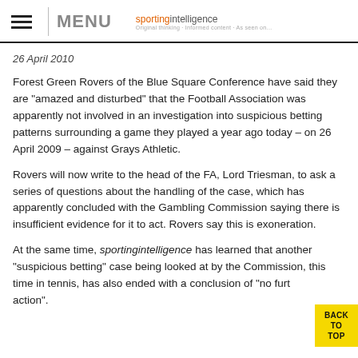MENU | sportingintelligence
26 April 2010
Forest Green Rovers of the Blue Square Conference have said they are "amazed and disturbed" that the Football Association was apparently not involved in an investigation into suspicious betting patterns surrounding a game they played a year ago today – on 26 April 2009 – against Grays Athletic.
Rovers will now write to the head of the FA, Lord Triesman, to ask a series of questions about the handling of the case, which has apparently concluded with the Gambling Commission saying there is insufficient evidence for it to act. Rovers say this is exoneration.
At the same time, sportingintelligence has learned that another "suspicious betting" case being looked at by the Commission, this time in tennis, has also ended with a conclusion of "no further action".